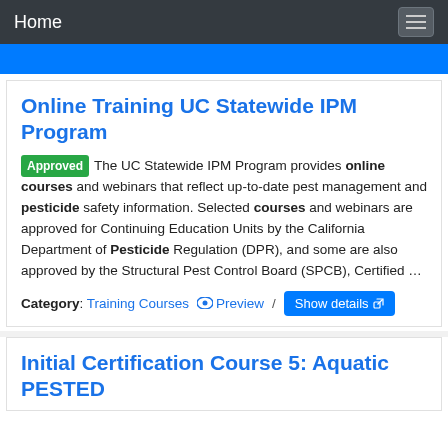Home
Online Training UC Statewide IPM Program
Approved The UC Statewide IPM Program provides online courses and webinars that reflect up-to-date pest management and pesticide safety information. Selected courses and webinars are approved for Continuing Education Units by the California Department of Pesticide Regulation (DPR), and some are also approved by the Structural Pest Control Board (SPCB), Certified …
Category: Training Courses  Preview /  Show details
Initial Certification Course 5: Aquatic PESTED